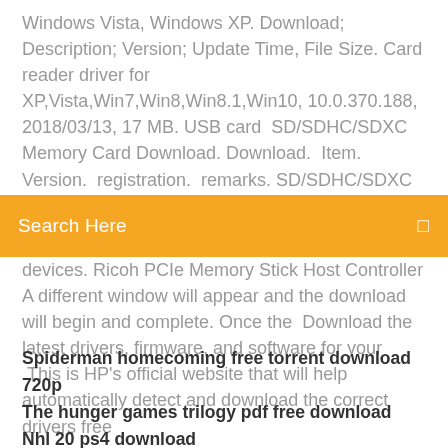Windows Vista, Windows XP. Download; Description; Version; Update Time, File Size. Card reader driver for XP,Vista,Win7,Win8,Win8.1,Win10, 10.0.370.188, 2018/03/13, 17 MB. USB card  SD/SDHC/SDXC Memory Card Download. Download. Item. Version. registration. remarks. SD/SDHC/SDXC Memory Cards Format Software (SD
[Figure (other): Search bar with orange background and text 'Search Here' with a small icon on the right]
devices. Ricoh PCIe Memory Stick Host Controller A different window will appear and the download will begin and complete. Once the  Download the latest drivers, firmware, and software for your .This is HP's official website that will help automatically detect and download the correct drivers free
Spiderman homecoming free torrent download 720p
The hunger games trilogy pdf free download
Nhl 20 ps4 download
Dropbox stuck downloading files